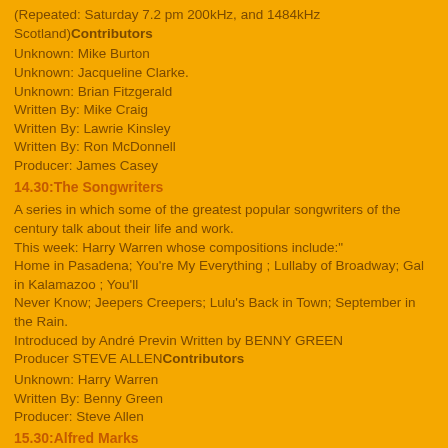(Repeated: Saturday 7.2 pm 200kHz, and 1484kHz Scotland)Contributors
Unknown: Mike Burton
Unknown: Jacqueline Clarke.
Unknown: Brian Fitzgerald
Written By: Mike Craig
Written By: Lawrie Kinsley
Written By: Ron McDonnell
Producer: James Casey
14.30:The Songwriters
A series in which some of the greatest popular songwriters of the century talk about their life and work.
This week: Harry Warren whose compositions include:"
Home in Pasadena; You're My Everything ; Lullaby of Broadway; Gal in Kalamazoo ; You'll
Never Know; Jeepers Creepers; Lulu's Back in Town; September in the Rain.
Introduced by André Previn Written by BENNY GREEN
Producer STEVE ALLENContributors
Unknown: Harry Warren
Written By: Benny Green
Producer: Steve Allen
15.30:Alfred Marks
says Be My Guest and invites you to join him In recalling his early visits to London's Variety Theatres and Musical Shows; memories of wartime films, and records he likes to share with his family. Producer PHYLLIS ROBINSON and others